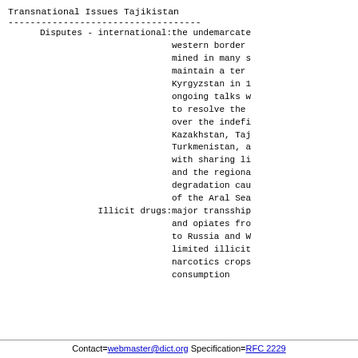Transnational Issues Tajikistan
-----------------------------------
| Disputes - international: | the undemarcated western border mined in many s maintain a ter Kyrgyzstan in 1 ongoing talks w to resolve the over the indefi Kazakhstan, Taj Turkmenistan, a with sharing li and the regiona degradation cau of the Aral Sea |
| Illicit drugs: | major transship and opiates fro to Russia and W limited illicit narcotics crops consumption |
Contact=webmaster@dict.org Specification=RFC 2229